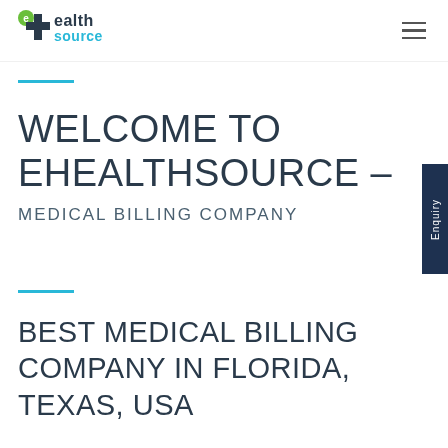[Figure (logo): eHealthSource logo — green cross icon with 'eHealth source' text]
WELCOME TO EHEALTHSOURCE –
MEDICAL BILLING COMPANY
BEST MEDICAL BILLING COMPANY IN FLORIDA, TEXAS, USA